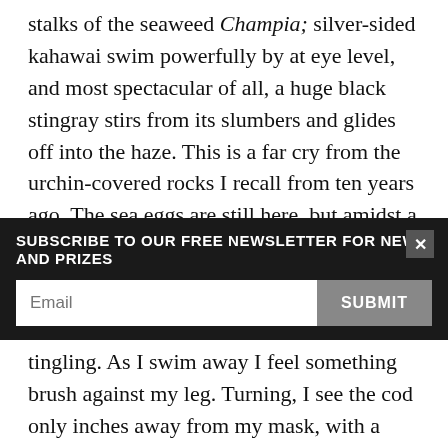stalks of the seaweed Champia; silver-sided kahawai swim powerfully by at eye level, and most spectacular of all, a huge black stingray stirs from its slumbers and glides off into the haze. This is a far cry from the urchin-covered rocks I recall from ten years ago. The sea eggs are still here, but amidst a profusion of other marine creatures.
And still I'm holding my wretched salami. I refuse to simply drop it; if they want it, they will have to come and get it. I don't have long to wait. A large blue cod
SUBSCRIBE TO OUR FREE NEWSLETTER FOR NEWS AND PRIZES
tingling. As I swim away I feel something brush against my leg. Turning, I see the cod only inches away from my mask, with a look that definitely says